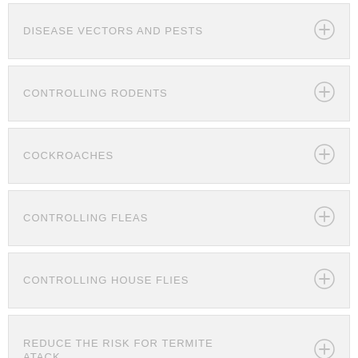DISEASE VECTORS AND PESTS
CONTROLLING RODENTS
COCKROACHES
CONTROLLING FLEAS
CONTROLLING HOUSE FLIES
REDUCE THE RISK FOR TERMITE ATACK
HOW TO REDUCE THE MOSQUITO